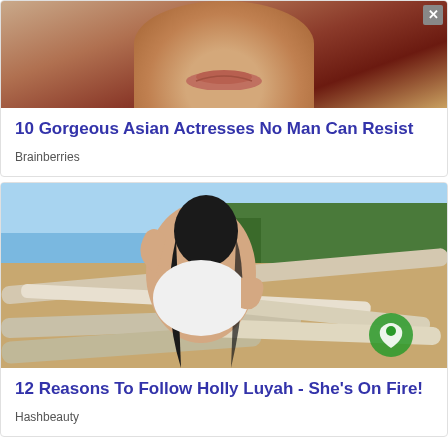[Figure (photo): Close-up photo of a woman's face and lower face area, wearing red clothing, cropped at the top]
10 Gorgeous Asian Actresses No Man Can Resist
Brainberries
[Figure (photo): Woman in white bikini posing among driftwood logs on a beach with trees in background, watermark logo in lower right]
12 Reasons To Follow Holly Luyah - She's On Fire!
Hashbeauty